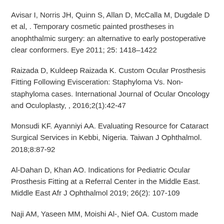Avisar I, Norris JH, Quinn S, Allan D, McCalla M, Dugdale D et al, . Temporary cosmetic painted prostheses in anophthalmic surgery: an alternative to early postoperative clear conformers. Eye 2011; 25: 1418–1422
Raizada D, Kuldeep Raizada K. Custom Ocular Prosthesis Fitting Following Evisceration: Staphyloma Vs. Non-staphyloma cases. International Journal of Ocular Oncology and Oculoplasty, , 2016;2(1):42-47
Monsudi KF. Ayanniyi AA. Evaluating Resource for Cataract Surgical Services in Kebbi, Nigeria. Taiwan J Ophthalmol. 2018;8:87-92
Al-Dahan D, Khan AO. Indications for Pediatric Ocular Prosthesis Fitting at a Referral Center in the Middle East. Middle East Afr J Ophthalmol 2019; 26(2): 107-109
Naji AM, Yaseen MM, Moishi Al-, Nief OA. Custom made…